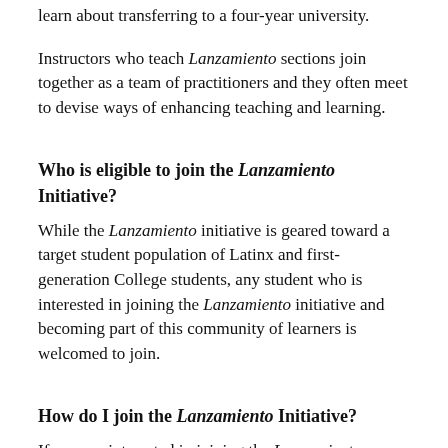learn about transferring to a four-year university.
Instructors who teach Lanzamiento sections join together as a team of practitioners and they often meet to devise ways of enhancing teaching and learning.
Who is eligible to join the Lanzamiento Initiative?
While the Lanzamiento initiative is geared toward a target student population of Latinx and first-generation College students, any student who is interested in joining the Lanzamiento initiative and becoming part of this community of learners is welcomed to join.
How do I join the Lanzamiento Initiative?
If you are interested in joining the Lanzamiento initiative, simply register for any open Lanzamiento section during your registration time.  Once you are enrolled in a Lanzamiento course section and the course begins, you will learn more